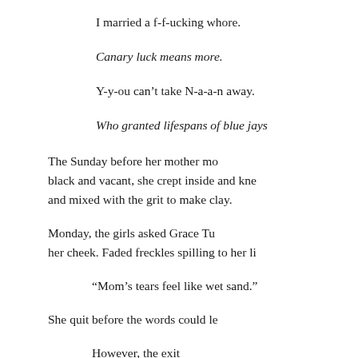I married a f-f-ucking whore.
Canary luck means more.
Y-y-ou can’t take N-a-a-n away.
Who granted lifespans of blue jays
The Sunday before her mother mo... black and vacant, she crept inside and kne... and mixed with the grit to make clay.
Monday, the girls asked Grace Tu... her cheek. Faded freckles spilling to her li...
“Mom’s tears feel like wet sand.”
She quit before the words could le...
However, the exit...